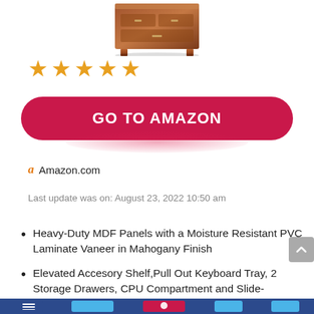[Figure (photo): Partial view of a wooden desk/nightstand furniture product in mahogany finish, cropped at top.]
[Figure (other): Five gold/orange star rating icons indicating a 5-star review.]
GO TO AMAZON
Amazon.com
Last update was on: August 23, 2022 10:50 am
Heavy-Duty MDF Panels with a Moisture Resistant PVC Laminate Vaneer in Mahogany Finish
Elevated Accesory Shelf,Pull Out Keyboard Tray, 2 Storage Drawers, CPU Compartment and Slide-